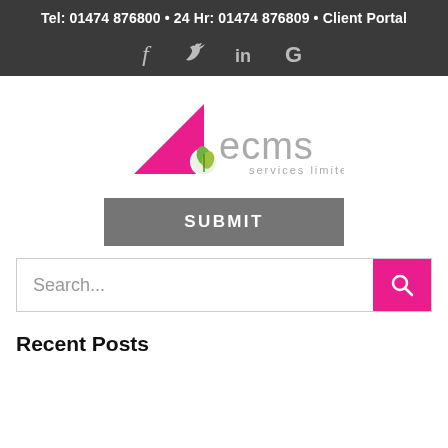Tel: 01474 876800 • 24 Hr: 01474 876809 • Client Portal
[Figure (logo): Social media icons: f (Facebook), bird (Twitter), in (LinkedIn), G (Google)]
[Figure (logo): ECMS Services Limited logo — pink triangle with circular leaf icon and grey 'ecms services limited' text]
SUBMIT
Search...
Recent Posts